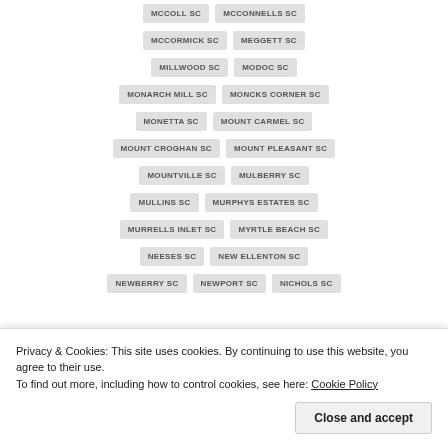MCCOLL SC
MCCONNELLS SC
MCCORMICK SC
MEGGETT SC
MILLWOOD SC
MODOC SC
MONARCH MILL SC
MONCKS CORNER SC
MONETTA SC
MOUNT CARMEL SC
MOUNT CROGHAN SC
MOUNT PLEASANT SC
MOUNTVILLE SC
MULBERRY SC
MULLINS SC
MURPHYS ESTATES SC
MURRELLS INLET SC
MYRTLE BEACH SC
NEESES SC
NEW ELLENTON SC
NEWBERRY SC
NEWPORT SC
NICHOLS SC
Privacy & Cookies: This site uses cookies. By continuing to use this website, you agree to their use. To find out more, including how to control cookies, see here: Cookie Policy
Close and accept